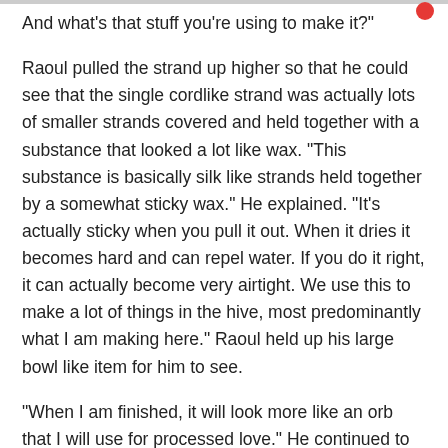And what's that stuff you're using to make it?"
Raoul pulled the strand up higher so that he could see that the single cordlike strand was actually lots of smaller strands covered and held together with a substance that looked a lot like wax. "This substance is basically silk like strands held together by a somewhat sticky wax." He explained. "It's actually sticky when you pull it out. When it dries it becomes hard and can repel water. If you do it right, it can actually become very airtight. We use this to make a lot of things in the hive, most predominantly what I am making here." Raoul held up his large bowl like item for him to see.
"When I am finished, it will look more like an orb that I will use for processed love." He continued to explain. "While the orb will house the processed love, it is also